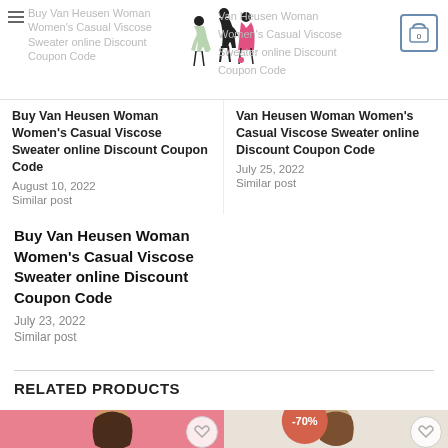Buy Van Heusen Woman Women's Casual Viscose Sweater online Discount Coupon Code
Buy Van Heusen Woman Women's Casual Viscose Sweater online Discount Coupon Code
August 10, 2022
Similar post
Buy Van Heusen Woman Women's Casual Viscose Sweater online Discount Coupon Code
July 25, 2022
Similar post
Buy Van Heusen Woman Women's Casual Viscose Sweater online Discount Coupon Code
July 23, 2022
Similar post
RELATED PRODUCTS
[Figure (photo): Woman in pink top — product photo]
[Figure (photo): Woman in neutral top with -70% discount badge — product photo]